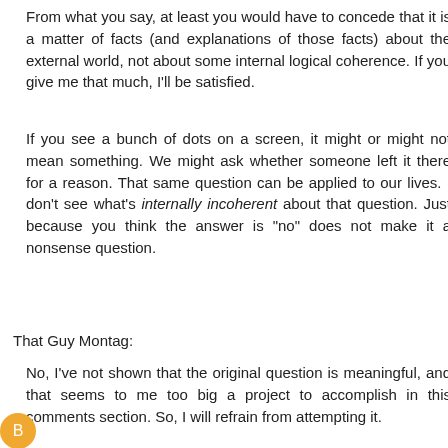From what you say, at least you would have to concede that it is a matter of facts (and explanations of those facts) about the external world, not about some internal logical coherence. If you give me that much, I'll be satisfied.
If you see a bunch of dots on a screen, it might or might not mean something. We might ask whether someone left it there for a reason. That same question can be applied to our lives. I don't see what's internally incoherent about that question. Just because you think the answer is "no" does not make it a nonsense question.
That Guy Montag:
No, I've not shown that the original question is meaningful, and that seems to me too big a project to accomplish in this comments section. So, I will refrain from attempting it.
Reply
That Guy Montag June 10, 2010 2:12 PM